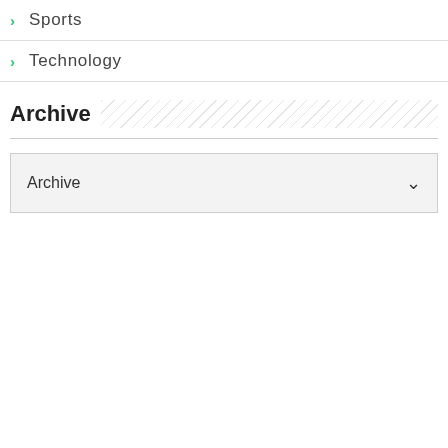Sports
Technology
Archive
Archive